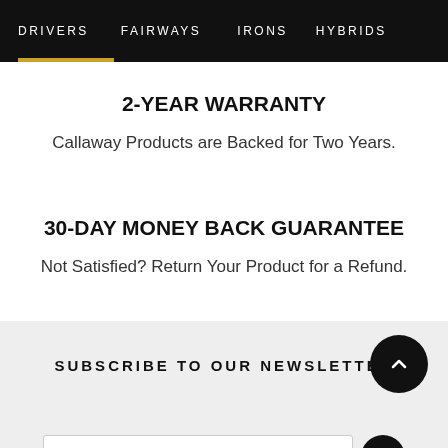DRIVERS   FAIRWAYS   IRONS   HYBRIDS
2-YEAR WARRANTY
Callaway Products are Backed for Two Years.
30-DAY MONEY BACK GUARANTEE
Not Satisfied? Return Your Product for a Refund.
SUBSCRIBE TO OUR NEWSLETTER